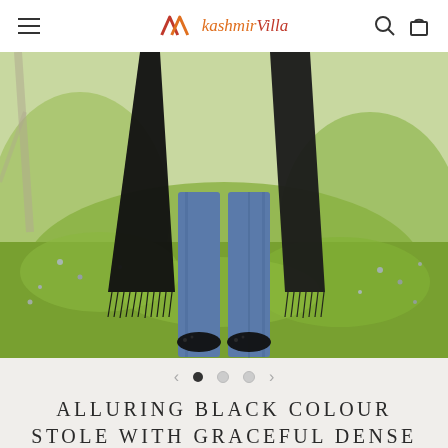kashmirVilla — navigation bar with hamburger menu, logo, search and cart icons
[Figure (photo): Person wearing a black stole/shawl with dense fringe tassels over blue jeans, standing in a green meadow with light purple wildflowers. Only the lower body is visible.]
◀  ● ○ ○  ▶
ALLURING BLACK COLOUR STOLE WITH GRACEFUL DENSE